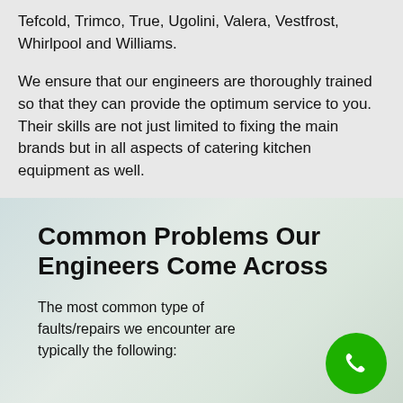Tefcold, Trimco, True, Ugolini, Valera, Vestfrost, Whirlpool and Williams.
We ensure that our engineers are thoroughly trained so that they can provide the optimum service to you. Their skills are not just limited to fixing the main brands but in all aspects of catering kitchen equipment as well.
[Figure (photo): Background photo of a commercial kitchen environment with light tones, used as backdrop for the lower section of the page.]
Common Problems Our Engineers Come Across
The most common type of faults/repairs we encounter are typically the following: